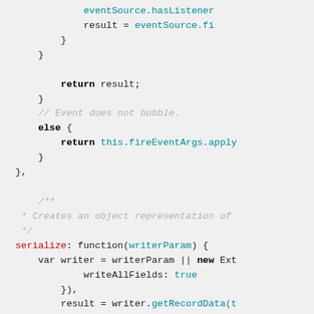[Figure (screenshot): Source code snippet showing JavaScript code with syntax highlighting. Contains code for event handling and a serialize function with writerParam parameter.]